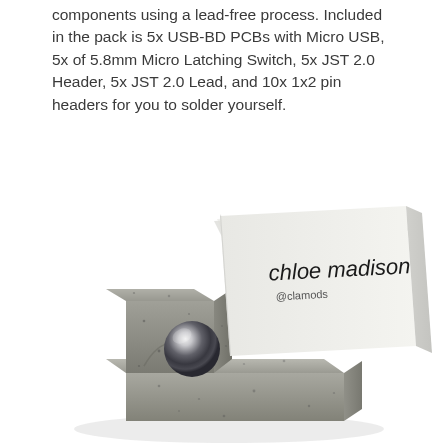components using a lead-free process. Included in the pack is 5x USB-BD PCBs with Micro USB, 5x of 5.8mm Micro Latching Switch, 5x JST 2.0 Header, 5x JST 2.0 Lead, and 10x 1x2 pin headers for you to solder yourself.
[Figure (photo): A concrete business card holder with an L-shaped concrete block base and a metallic chrome sphere. A business card is held in the slot, showing the text 'chloe madison @clamods' in handwritten-style font. The product is photographed on a white background.]